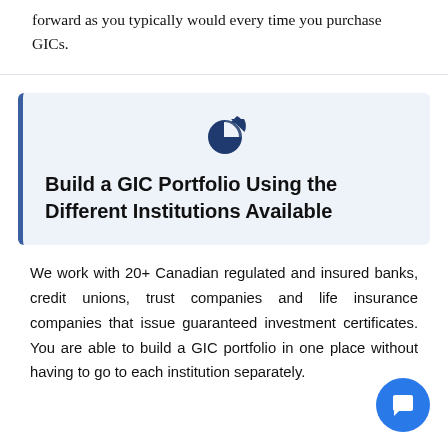forward as you typically would every time you purchase GICs.
[Figure (illustration): Pie chart icon with a dark navy blue color, showing a pie chart with one slice separated]
Build a GIC Portfolio Using the Different Institutions Available
We work with 20+ Canadian regulated and insured banks, credit unions, trust companies and life insurance companies that issue guaranteed investment certificates. You are able to build a GIC portfolio in one place without having to go to each institution separately.